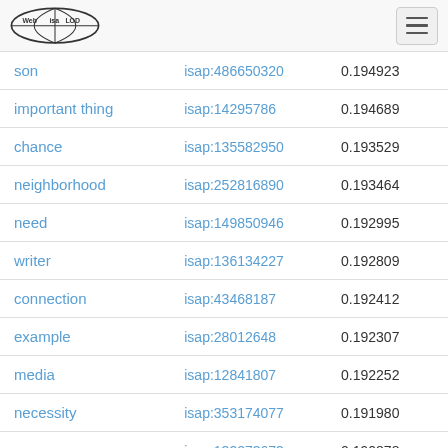Web isa LOD
| son | isap:486650320 | 0.194923 |
| important thing | isap:14295786 | 0.194689 |
| chance | isap:135582950 | 0.193529 |
| neighborhood | isap:252816890 | 0.193464 |
| need | isap:149850946 | 0.192995 |
| writer | isap:136134227 | 0.192809 |
| connection | isap:43468187 | 0.192412 |
| example | isap:28012648 | 0.192307 |
| media | isap:12841807 | 0.192252 |
| necessity | isap:353174077 | 0.191980 |
| season | isap:132273673 | 0.190878 |